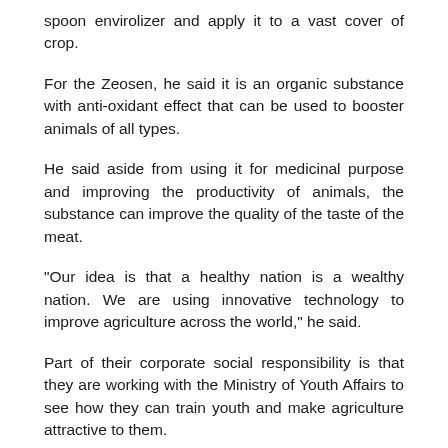spoon envirolizer and apply it to a vast cover of crop.
For the Zeosen, he said it is an organic substance with anti-oxidant effect that can be used to booster animals of all types.
He said aside from using it for medicinal purpose and improving the productivity of animals, the substance can improve the quality of the taste of the meat.
“Our idea is that a healthy nation is a wealthy nation. We are using innovative technology to improve agriculture across the world,” he said.
Part of their corporate social responsibility is that they are working with the Ministry of Youth Affairs to see how they can train youth and make agriculture attractive to them.